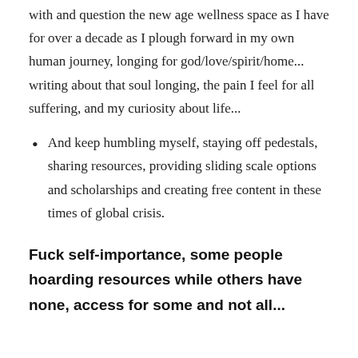with and question the new age wellness space as I have for over a decade as I plough forward in my own human journey, longing for god/love/spirit/home... writing about that soul longing, the pain I feel for all suffering, and my curiosity about life...
And keep humbling myself, staying off pedestals, sharing resources, providing sliding scale options and scholarships and creating free content in these times of global crisis.
Fuck self-importance, some people hoarding resources while others have none, access for some and not all...